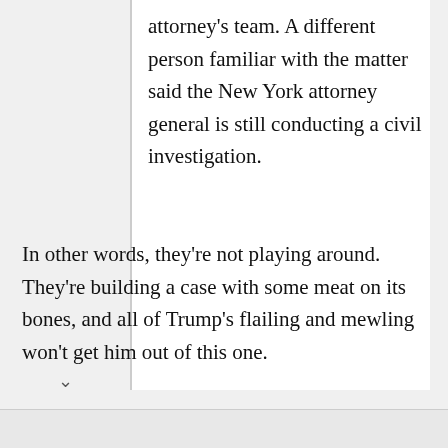attorney's team. A different person familiar with the matter said the New York attorney general is still conducting a civil investigation.
In other words, they're not playing around. They're building a case with some meat on its bones, and all of Trump's flailing and mewling won't get him out of this one.